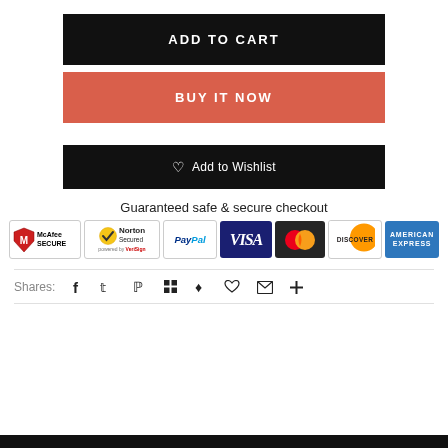ADD TO CART
BUY IT NOW
♡ Add to Wishlist
Guaranteed safe & secure checkout
[Figure (other): Payment security badges: McAfee SECURE, Norton Secured by VeriSign, PayPal, VISA, Mastercard, Discover, American Express]
Shares:
Social share icons: Facebook, Twitter, Pinterest, Grid/Apps, Bookmark, Heart, Email, Plus